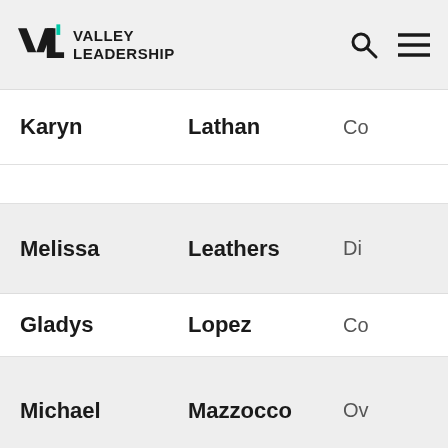Valley Leadership
| First Name | Last Name | Organization |
| --- | --- | --- |
| Karyn | Lathan | Co… |
| Melissa | Leathers | Di… |
| Gladys | Lopez | Co… |
| Michael | Mazzocco | Ov… |
| Brian | McCoy | Cit… su… |